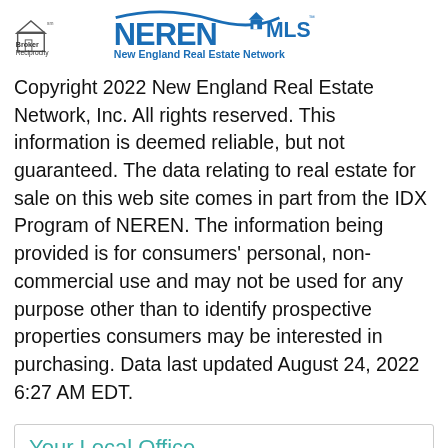[Figure (logo): Broker Reciprocity logo (house icon with text 'Broker Reciprocity sm') and NEREN MLS logo (blue text 'NEREN MLS' with house icon and tagline 'New England Real Estate Network')]
Copyright 2022 New England Real Estate Network, Inc. All rights reserved. This information is deemed reliable, but not guaranteed. The data relating to real estate for sale on this web site comes in part from the IDX Program of NEREN. The information being provided is for consumers' personal, non-commercial use and may not be used for any purpose other than to identify prospective properties consumers may be interested in purchasing. Data last updated August 24, 2022 6:27 AM EDT.
Your Local Office
[Figure (logo): Partial circular seal/logo with text 'THA E. DIER' visible at bottom, green and blue circular badge]